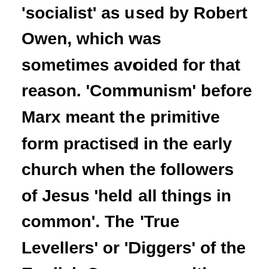'socialist' as used by Robert Owen, which was sometimes avoided for that reason. 'Communism' before Marx meant the primitive form practised in the early church when the followers of Jesus 'held all things in common'. The 'True Levellers' or 'Diggers' of the English Commonwealth similarly wanted to abolish private property and social distinctions altogether. In the nineteenth